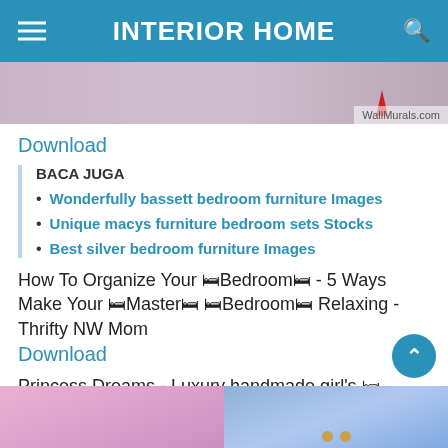INTERIOR HOME
[Figure (photo): Top portion of a bedroom interior image with WallMurals.com watermark]
Download
BACA JUGA
Wonderfully bassett bedroom furniture Images
Unique macys furniture bedroom sets Stocks
Best silver bedroom furniture Images
How To Organize Your 🛏Bedroom🛏 - 5 Ways Make Your 🛏Master🛏 🛏Bedroom🛏 Relaxing - Thrifty NW Mom
Download
Princess Dreams - Luxury handmade girl's 🛏bedroom🛏 and 🛏furniture🛏
[Figure (photo): Bottom portion showing pink and blue children's bedroom furniture]